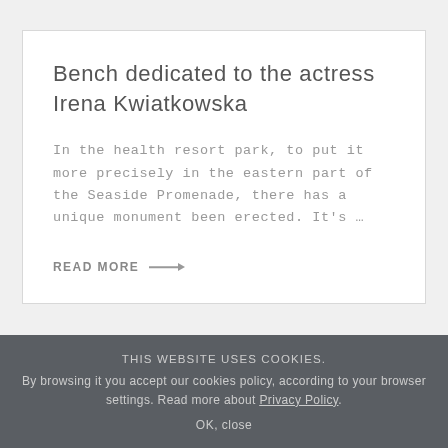Bench dedicated to the actress Irena Kwiatkowska
In the health resort park, to put it more precisely in the eastern part of the Seaside Promenade, there has a unique monument been erected. It's ...
READ MORE →
THIS WEBSITE USES COOKIES. By browsing it you accept our cookies policy, according to your browser settings. Read more about Privacy Policy. OK, close